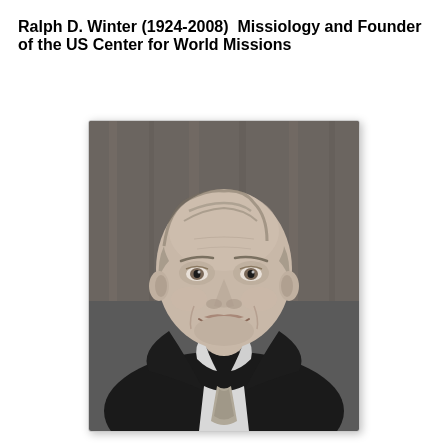Ralph D. Winter (1924-2008)  Missiology and Founder of the US Center for World Missions
[Figure (photo): Black and white portrait photograph of Ralph D. Winter, an elderly smiling man wearing a dark suit jacket, white dress shirt, and patterned tie, photographed against a dark background.]